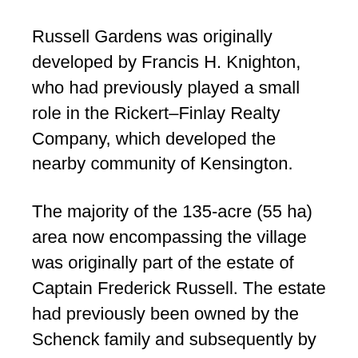Russell Gardens was originally developed by Francis H. Knighton, who had previously played a small role in the Rickert–Finlay Realty Company, which developed the nearby community of Kensington.
The majority of the 135-acre (55 ha) area now encompassing the village was originally part of the estate of Captain Frederick Russell. The estate had previously been owned by the Schenck family and subsequently by the Haviland family. Other areas were purchased from Arthur Cushman, as well as from others. After purchasing the land, Knighton quickly started to develop it, and chose